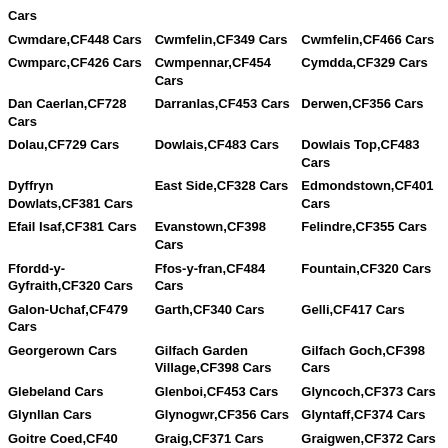Cars
Cwmdare,CF448 Cars
Cwmfelin,CF349 Cars
Cwmfelin,CF466 Cars
Cwmparc,CF426 Cars
Cwmpennar,CF454 Cars
Cymdda,CF329 Cars
Dan Caerlan,CF728 Cars
Darranlas,CF453 Cars
Derwen,CF356 Cars
Dolau,CF729 Cars
Dowlais,CF483 Cars
Dowlais Top,CF483 Cars
Dyffryn Dowlats,CF381 Cars
East Side,CF328 Cars
Edmondstown,CF401 Cars
Efail Isaf,CF381 Cars
Evanstown,CF398 Cars
Felindre,CF355 Cars
Ffordd-y-Gyfraith,CF320 Cars
Ffos-y-fran,CF484 Cars
Fountain,CF320 Cars
Galon-Uchaf,CF479 Cars
Garth,CF340 Cars
Gelli,CF417 Cars
Georgerown Cars
Gilfach Garden Village,CF398 Cars
Gilfach Goch,CF398 Cars
Glebeland Cars
Glenboi,CF453 Cars
Glyncoch,CF373 Cars
Glynllan Cars
Glynogwr,CF356 Cars
Glyntaff,CF374 Cars
Goitre Coed,CF40 Cars
Graig,CF371 Cars
Graigwen,CF372 Cars